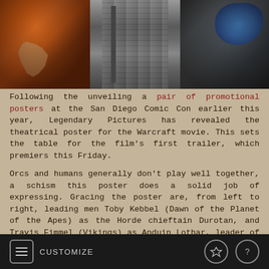[Figure (photo): Warcraft movie promotional poster split into three panels: left panel shows an orc with orange fur and a large curved tusk/horn; center panel shows an ornate metallic weapon or column with decorative engravings; right panel shows a bearded man's face with blue war paint.]
Following the unveiling a pair of promotional posters at the San Diego Comic Con earlier this year, Legendary Pictures has revealed the theatrical poster for the Warcraft movie. This sets the table for the film's first trailer, which premiers this Friday.
Orcs and humans generally don't play well together, a schism this poster does a solid job of expressing. Gracing the poster are, from left to right, leading men Toby Kebbel (Dawn of the Planet of the Apes) as the Horde chieftain Durotan, and Travis Fimmel (Vikings) as Anduin Lothar, leader of the Alliance. See the poster in its full glory below.
CUSTOMIZE